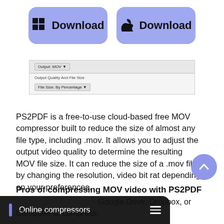[Figure (screenshot): Two purple/periwinkle download buttons side by side — one with a Windows icon and one with an Apple icon, both labeled 'Download']
[Figure (screenshot): UI screenshot showing Output format dropdown (MOV) and Output Quality And File Size section with File Size: By Percentage dropdown]
PS2PDF is a free-to-use cloud-based free MOV compressor built to reduce the size of almost any file type, including .mov. It allows you to adjust the output video quality to determine the resulting MOV file size. It can reduce the size of a .mov file by changing the resolution, video bit rat depending on your preferences.
Pros of compressing MOV video with PS2PDF
[Figure (screenshot): Dark bottom navigation bar with a purple vertical bar icon, 'Online compressors' text, and a hamburger menu icon]
Google Drive, Dropbox, or Computer to compress.